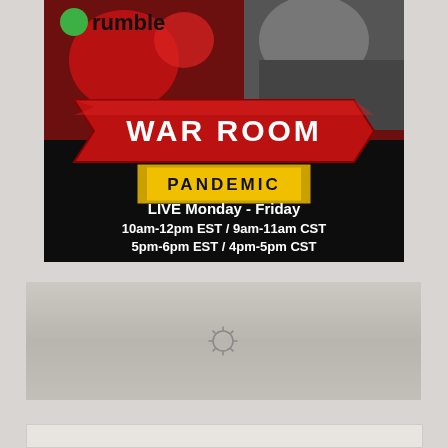[Figure (screenshot): War Room Pandemic on Rumble promotional banner. Shows 'rumble' logo text at top left with green circle icon, a person's face on the right side, a red arrow/road-sign shaped banner reading 'WAR ROOM' in large white bold letters, a yellow box reading 'PANDEMIC', and schedule text: 'LIVE Monday - Friday / 10am-12pm EST / 9am-11am CST / 5pm-6pm EST / 4pm-5pm CST']
[Figure (screenshot): Loading placeholder box with a spinning/loading icon (sun/gear symbol) in the center, shown on a gray gradient background]